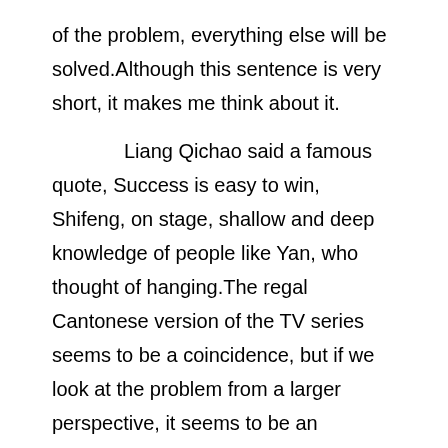of the problem, everything else will be solved.Although this sentence is very short, it makes me think about it.
Liang Qichao said a famous quote, Success is easy to win, Shifeng, on stage, shallow and deep knowledge of people like Yan, who thought of hanging.The regal Cantonese version of the TV series seems to be a coincidence, but if we look at the problem from a larger perspective, it seems to be an inevitable fact.Although this sentence is very short, it makes me think about it.
Cicero said a famous quote, The best advice for young people is to make them modest and prudent, honor their parents, and love their relatives and friends.Why does The regal Cantonese version of the TV series happen?This sentence brings us to a new dimension to think about this